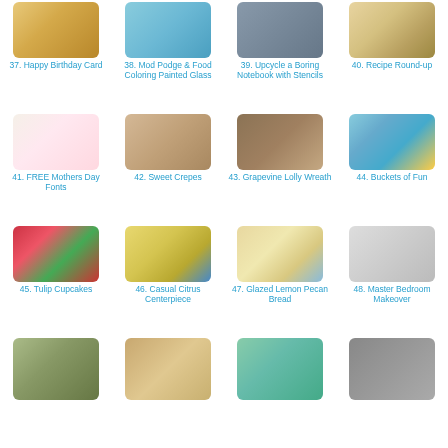[Figure (photo): Item 37 - Happy Birthday Card]
37. Happy Birthday Card
[Figure (photo): Item 38 - Mod Podge & Food Coloring Painted Glass]
38. Mod Podge & Food Coloring Painted Glass
[Figure (photo): Item 39 - Upcycle a Boring Notebook with Stencils]
39. Upcycle a Boring Notebook with Stencils
[Figure (photo): Item 40 - Recipe Round-up]
40. Recipe Round-up
[Figure (photo): Item 41 - FREE Mothers Day Fonts]
41. FREE Mothers Day Fonts
[Figure (photo): Item 42 - Sweet Crepes]
42. Sweet Crepes
[Figure (photo): Item 43 - Grapevine Lolly Wreath]
43. Grapevine Lolly Wreath
[Figure (photo): Item 44 - Buckets of Fun]
44. Buckets of Fun
[Figure (photo): Item 45 - Tulip Cupcakes]
45. Tulip Cupcakes
[Figure (photo): Item 46 - Casual Citrus Centerpiece]
46. Casual Citrus Centerpiece
[Figure (photo): Item 47 - Glazed Lemon Pecan Bread]
47. Glazed Lemon Pecan Bread
[Figure (photo): Item 48 - Master Bedroom Makeover]
48. Master Bedroom Makeover
[Figure (photo): Item 49 - partial]
[Figure (photo): Item 50 - partial]
[Figure (photo): Item 51 - partial]
[Figure (photo): Item 52 - partial]